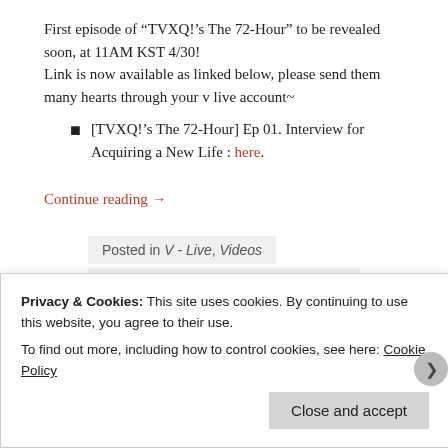First episode of “TVXQ!’s The 72-Hour” to be revealed soon, at 11AM KST 4/30!
Link is now available as linked below, please send them many hearts through your v live account~
[TVXQ!'s The 72-Hour] Ep 01. Interview for Acquiring a New Life : here.
Continue reading →
Posted in V - Live, Videos
Tagged KR TV: "TVXQ's 72 Hours", TVXQ!
Privacy & Cookies: This site uses cookies. By continuing to use this website, you agree to their use.
To find out more, including how to control cookies, see here: Cookie Policy